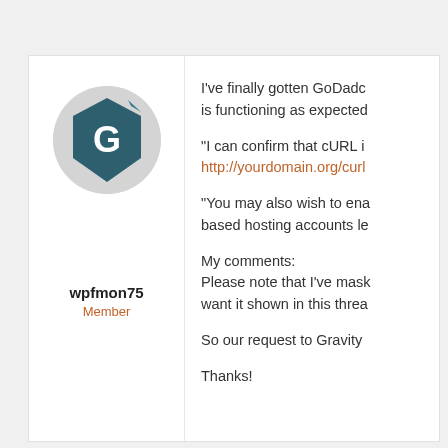[Figure (illustration): User avatar: a dark teal hexagonal/shield shape with a stylized letter G, inside a light gray circle. Shown in the left column sidebar.]
wpfmon75
Member
I've finally gotten GoDadc is functioning as expected
"I can confirm that cURL i http://yourdomain.org/cur
"You may also wish to ena based hosting accounts le
My comments:
Please note that I've mask want it shown in this threa
So our request to Gravity
Thanks!